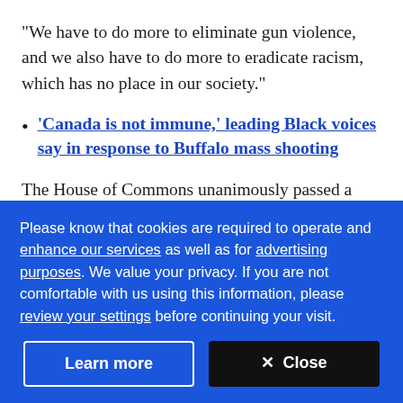"We have to do more to eliminate gun violence, and we also have to do more to eradicate racism, which has no place in our society."
'Canada is not immune,' leading Black voices say in response to Buffalo mass shooting
The House of Commons unanimously passed a motion Monday which expressed horror at the shooting,
Please know that cookies are required to operate and enhance our services as well as for advertising purposes. We value your privacy. If you are not comfortable with us using this information, please review your settings before continuing your visit.